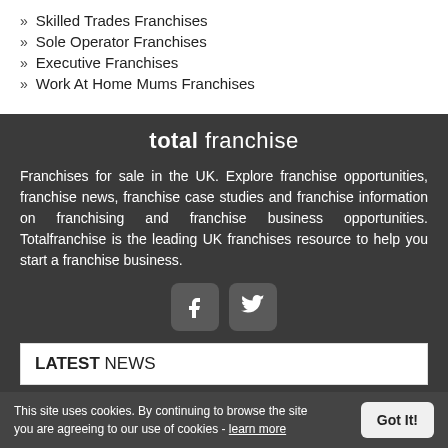» Skilled Trades Franchises
» Sole Operator Franchises
» Executive Franchises
» Work At Home Mums Franchises
total franchise
Franchises for sale in the UK. Explore franchise opportunities, franchise news, franchise case studies and franchise information on franchising and franchise business opportunities. Totalfranchise is the leading UK franchises resource to help you start a franchise business.
[Figure (illustration): Facebook and Twitter social media icons]
LATEST NEWS
To subscribe to our newsletter about the latest franchise opportunities and information, please enter your email address:
This site uses cookies. By continuing to browse the site you are agreeing to our use of cookies - learn more